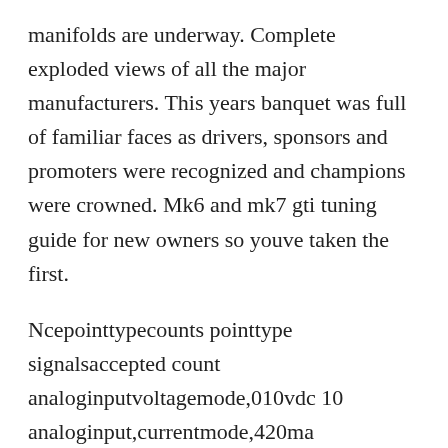manifolds are underway. Complete exploded views of all the major manufacturers. This years banquet was full of familiar faces as drivers, sponsors and promoters were recognized and champions were crowned. Mk6 and mk7 gti tuning guide for new owners so youve taken the first.
Ncepointtypecounts pointtype signalsaccepted count analoginputvoltagemode,010vdc 10 analoginput,currentmode,420ma analoginput,resistivemode,02kohm,rtd1kjohnsonco You wont have to catch up to anyone with this